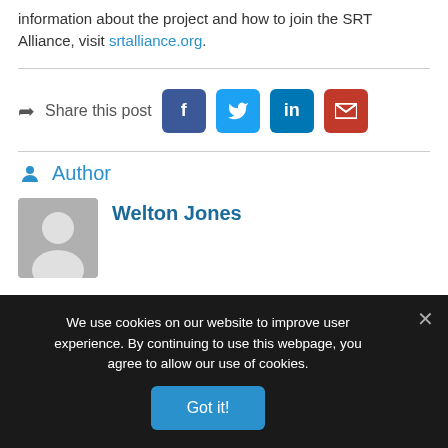information about the project and how to join the SRT Alliance, visit srtalliance.org.
Share this post
Author
Welton Jones
We use cookies on our website to improve user experience. By continuing to use this webpage, you agree to allow our use of cookies.